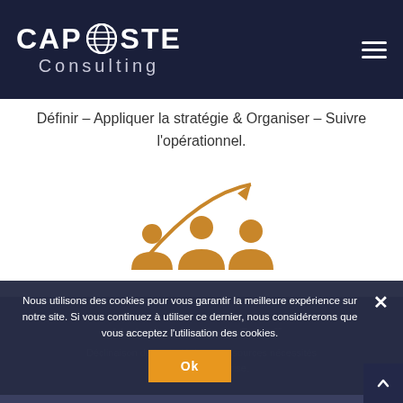[Figure (logo): Cap Coste Consulting logo with globe icon on dark navy background, with hamburger menu icon]
Définir – Appliquer la stratégie & Organiser – Suivre l'opérationnel.
[Figure (illustration): Three golden person/people icons with an upward trending arrow above them, representing management growth]
MANAGEMENT
Déclinaison de la stratégie en ressources nécessités du projet d'entreprise.
Nous utilisons des cookies pour vous garantir la meilleure expérience sur notre site. Si vous continuez à utiliser ce dernier, nous considérerons que vous acceptez l'utilisation des cookies.